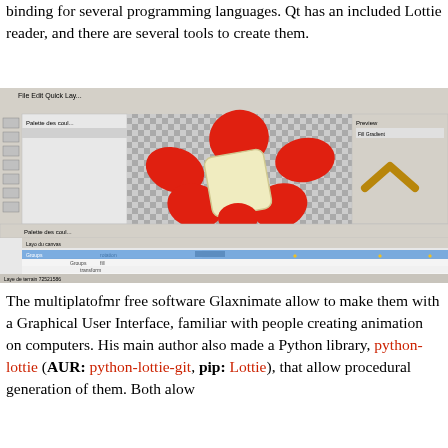binding for several programming languages. Qt has an included Lottie reader, and there are several tools to create them.
[Figure (screenshot): Screenshot of Glaxnimate animation software showing a red flower-like shape with a cream/yellow center on a checkered background, with timeline and layer panels visible below.]
The multiplatofmr free software Glaxnimate allow to make them with a Graphical User Interface, familiar with people creating animation on computers. His main author also made a Python library, python-lottie (AUR: python-lottie-git, pip: Lottie), that allow procedural generation of them. Both alow